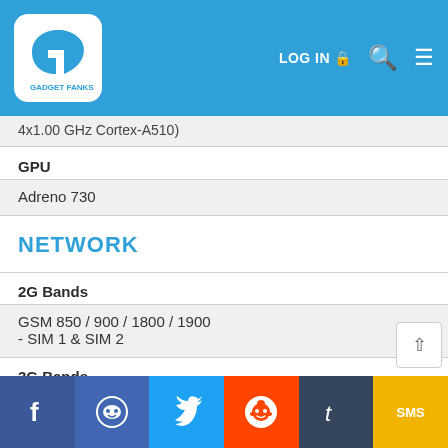Gadget Fanks — LOG IN | Search | Menu
4x1.00 GHz Cortex-A510
| Spec | Value |
| --- | --- |
| GPU | Adreno 730 |
| NETWORK |  |
| 2G Bands | GSM 850 / 900 / 1800 / 1900
- SIM 1 & SIM 2 |
| 3G Bands | HSDPA 800 / 850 / 900 / 1700(AWS) / 1900 / 2100 |
| 4G Bands |  |
Facebook | Messenger | Twitter | Reddit | Tumblr | SMS